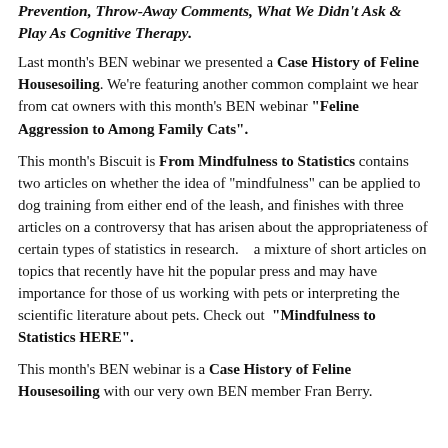Prevention, Throw-Away Comments, What We Didn't Ask & Play As Cognitive Therapy.
Last month's BEN webinar we presented a Case History of Feline Housesoiling. We're featuring another common complaint we hear from cat owners with this month's BEN webinar "Feline Aggression to Among Family Cats".
This month's Biscuit is From Mindfulness to Statistics contains two articles on whether the idea of "mindfulness" can be applied to dog training from either end of the leash, and finishes with three articles on a controversy that has arisen about the appropriateness of certain types of statistics in research.    a mixture of short articles on topics that recently have hit the popular press and may have importance for those of us working with pets or interpreting the scientific literature about pets. Check out  "Mindfulness to Statistics HERE".
This month's BEN webinar is a Case History of Feline Housesoiling with our very own BEN member Fran Berry.